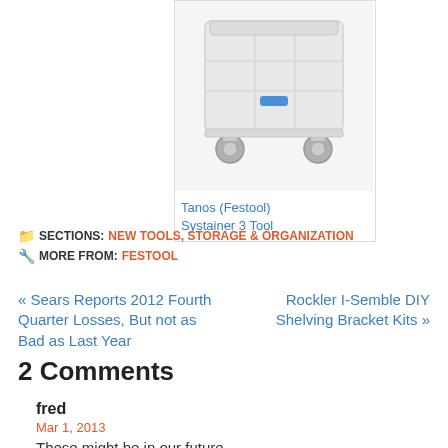[Figure (photo): Photo of Tanos (Festool) Systainer 3 Tool storage unit with casters, showing a white modular tool storage container with blue clip detail]
Tanos (Festool) Systainer 3 Tool
SECTIONS: NEW TOOLS, STORAGE & ORGANIZATION
MORE FROM: FESTOOL
« Sears Reports 2012 Fourth Quarter Losses, But not as Bad as Last Year
Rockler I-Semble DIY Shelving Bracket Kits »
2 Comments
fred
Mar 1, 2013
These might be in our future.